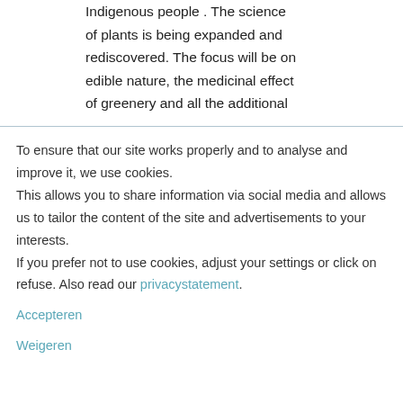Indigenous people . The science of plants is being expanded and rediscovered. The focus will be on edible nature, the medicinal effect of greenery and all the additional
To ensure that our site works properly and to analyse and improve it, we use cookies. This allows you to share information via social media and allows us to tailor the content of the site and advertisements to your interests. If you prefer not to use cookies, adjust your settings or click on refuse. Also read our privacystatement.
Accepteren
Weigeren